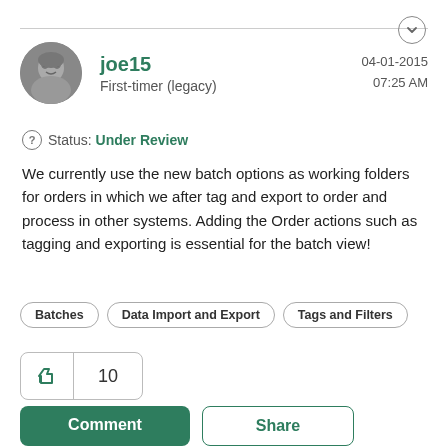joe15
First-timer (legacy)
04-01-2015 07:25 AM
Status: Under Review
We currently use the new batch options as working folders for orders in which we after tag and export to order and process in other systems. Adding the Order actions such as tagging and exporting is essential for the batch view!
Batches
Data Import and Export
Tags and Filters
10
Comment
Share